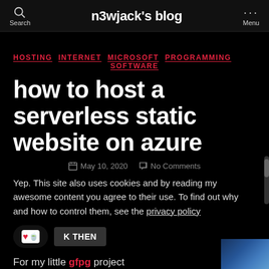n3wjack's blog | Search | Menu
HOSTING  INTERNET  MICROSOFT  PROGRAMMING  SOFTWARE
how to host a serverless static website on azure
May 10, 2020  No Comments
Yep. This site also uses cookies and by reading my awesome content you agree to their use. To find out why and how to control them, see the privacy policy
K THEN
For my little gfpg project